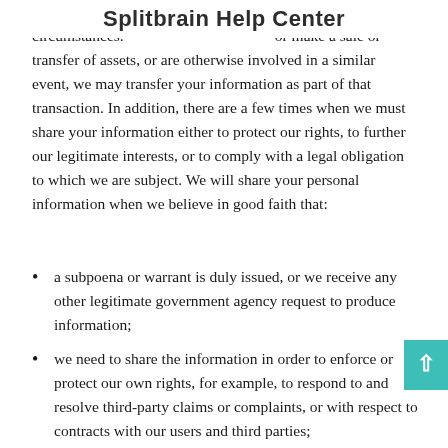Splitbrain Help Center
We will share your information with third parties in specific circumstances. If we sell all or part of our business, or make a sale or transfer of assets, or are otherwise involved in a similar event, we may transfer your information as part of that transaction. In addition, there are a few times when we must share your information either to protect our rights, to further our legitimate interests, or to comply with a legal obligation to which we are subject. We will share your personal information when we believe in good faith that:
a subpoena or warrant is duly issued, or we receive any other legitimate government agency request to produce information;
we need to share the information in order to enforce or protect our own rights, for example, to respond to and resolve third-party claims or complaints, or with respect to contracts with our users and third parties;
we need to address a security or technical issue within our website;
sharing the information is necessary to prevent harm to others or others' property, especially in an emergency